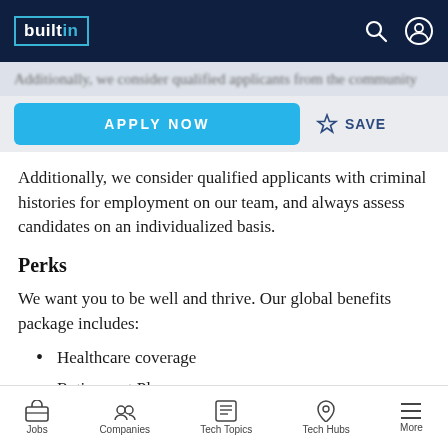builtin
Additionally, we consider qualified applicants with criminal histories for employment on our team, and always assess candidates on an individualized basis.
Perks
We want you to be well and thrive. Our global benefits package includes:
Healthcare coverage
Retirement Plans
Employee Stock Purchase Program
Jobs  Companies  Tech Topics  Tech Hubs  More